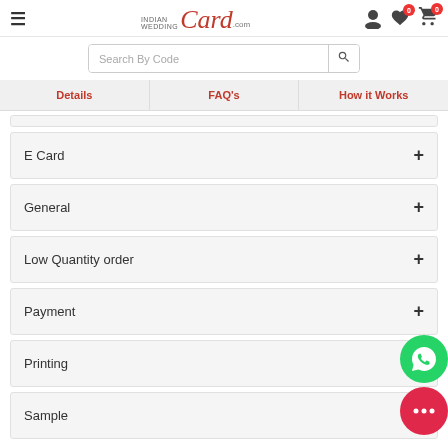IndianWeddingCard.com header with hamburger menu, logo, search bar, and icons
Search By Code
Details | FAQ's | How it Works
E Card +
General +
Low Quantity order +
Payment +
Printing +
Sample +